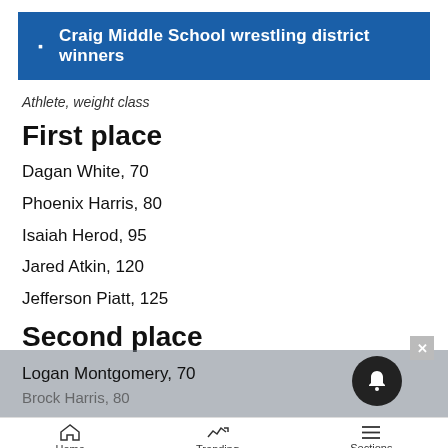Craig Middle School wrestling district winners
Athlete, weight class
First place
Dagan White, 70
Phoenix Harris, 80
Isaiah Herod, 95
Jared Atkin, 120
Jefferson Piatt, 125
Second place
Logan Montgomery, 70
Home  Trending  Sections